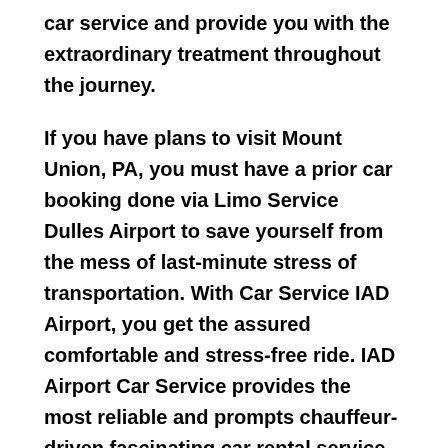car service and provide you with the extraordinary treatment throughout the journey.
If you have plans to visit Mount Union, PA, you must have a prior car booking done via Limo Service Dulles Airport to save yourself from the mess of last-minute stress of transportation. With Car Service IAD Airport, you get the assured comfortable and stress-free ride. IAD Airport Car Service provides the most reliable and prompts chauffeur-driven fascinating car rental service on the streets of Mount Union, PA.
The Dulles Airport Limo Service is an accessible mode of transportation when you come to the city Mount Union, PA. It blesses you with the finest...